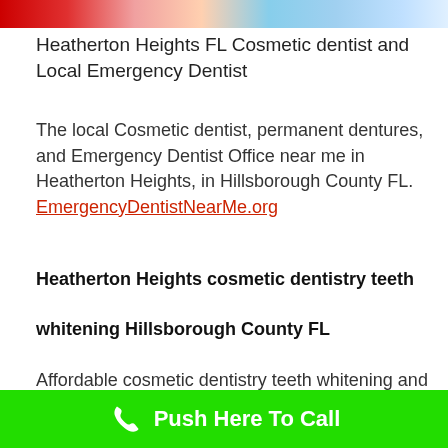[Figure (photo): Top banner image showing dental/cosmetic dentistry related imagery with red, skin-tone, and blue tones]
Heatherton Heights FL Cosmetic dentist and Local Emergency Dentist
The local Cosmetic dentist, permanent dentures, and Emergency Dentist Office near me in Heatherton Heights, in Hillsborough County FL. EmergencyDentistNearMe.org
Heatherton Heights cosmetic dentistry teeth
whitening Hillsborough County FL
Affordable cosmetic dentistry teeth whitening and permanent dentures, Hillsborough County FL
Push Here To Call